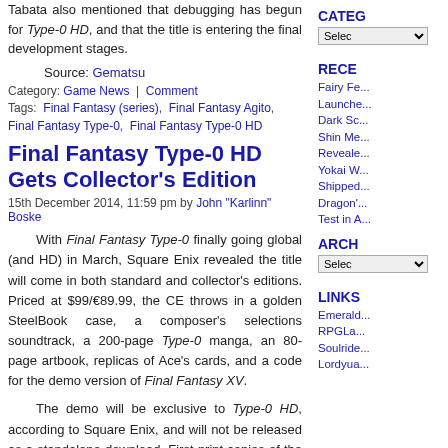Tabata also mentioned that debugging has begun for Type-0 HD, and that the title is entering the final development stages.
Source: Gematsu
Category: Game News | Comment
Tags: Final Fantasy (series), Final Fantasy Agito, Final Fantasy Type-0, Final Fantasy Type-0 HD
Final Fantasy Type-0 HD Gets Collector's Edition
15th December 2014, 11:59 pm by John "Karlinn" Boske
With Final Fantasy Type-0 finally going global (and HD) in March, Square Enix revealed the title will come in both standard and collector's editions. Priced at $99/€89.99, the CE throws in a golden SteelBook case, a composer's selections soundtrack, a 200-page Type-0 manga, an 80-page artbook, replicas of Ace's cards, and a code for the demo version of Final Fantasy XV.
The demo will be exclusive to Type-0 HD, according to Square Enix, and will not be released as a standalone download. First-print copies of the standard edition will also include copies of the demo.
Source: Gematsu
Category: Game News | Comment
Tags: Final Fantasy (series), Final Fantasy Type-0, Final Fantasy Type-0 HD
CATEG
RECE
ARCH
LINKS